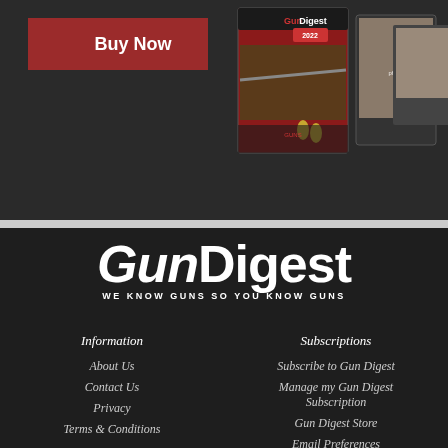[Figure (screenshot): Top banner with dark background showing a 'Buy Now' red button on the left and Gun Digest magazine cover image on the right]
GunDigest WE KNOW GUNS SO YOU KNOW GUNS
Information
Subscriptions
About Us
Contact Us
Privacy
Terms & Conditions
Subscribe to Gun Digest
Manage my Gun Digest Subscription
Gun Digest Store
Email Preferences